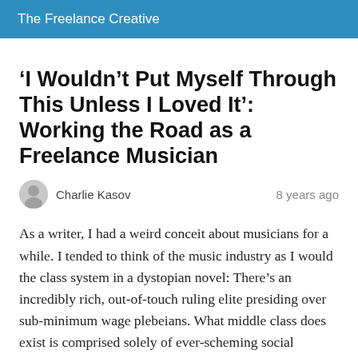The Freelance Creative
‘I Wouldn’t Put Myself Through This Unless I Loved It’: Working the Road as a Freelance Musician
Charlie Kasov   8 years ago
As a writer, I had a weird conceit about musicians for a while. I tended to think of the music industry as I would the class system in a dystopian novel: There’s an incredibly rich, out-of-touch ruling elite presiding over sub-minimum wage plebeians. What middle class does exist is comprised solely of ever-scheming social climbers.
That’s not the most sympathetic perspective, but two years of writing for MTV…